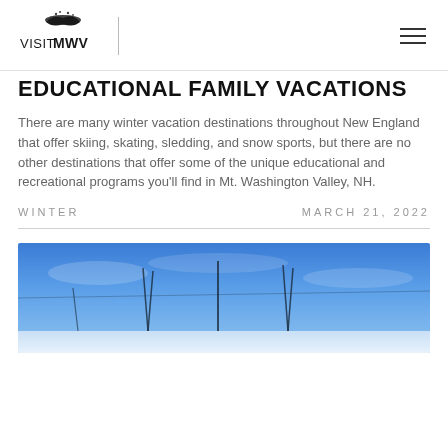VISITMWV
EDUCATIONAL FAMILY VACATIONS
There are many winter vacation destinations throughout New England that offer skiing, skating, sledding, and snow sports, but there are no other destinations that offer some of the unique educational and recreational programs you'll find in Mt. Washington Valley, NH.
WINTER   MARCH 21, 2022
[Figure (photo): Winter photo of ski slopes against a blue sky with ski poles or lift equipment visible in silhouette]